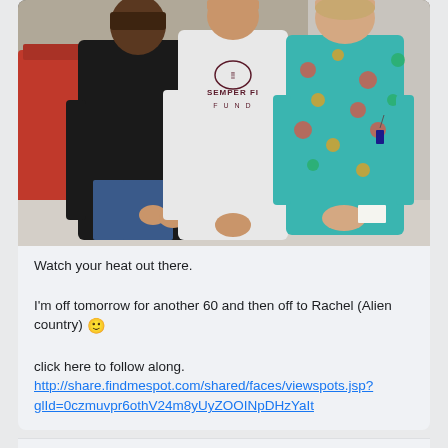[Figure (photo): Three people standing together indoors. Left person wears a black t-shirt and jeans. Middle person wears a white long-sleeve shirt reading 'Semper Fi Fund'. Right person wears colorful floral/patterned scrubs. Background shows a red trash can and institutional hallway.]
Watch your heat out there.
I'm off tomorrow for another 60 and then off to Rachel (Alien country) 🙂
click here to follow along.
http://share.findmespot.com/shared/faces/viewspots.jsp?glId=0czmuvpr6othV24m8yUyZOOINpDHzYaIt